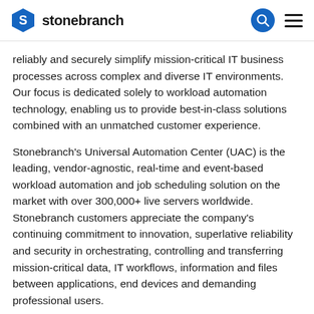stonebranch
reliably and securely simplify mission-critical IT business processes across complex and diverse IT environments. Our focus is dedicated solely to workload automation technology, enabling us to provide best-in-class solutions combined with an unmatched customer experience.
Stonebranch's Universal Automation Center (UAC) is the leading, vendor-agnostic, real-time and event-based workload automation and job scheduling solution on the market with over 300,000+ live servers worldwide. Stonebranch customers appreciate the company's continuing commitment to innovation, superlative reliability and security in orchestrating, controlling and transferring mission-critical data, IT workflows, information and files between applications, end devices and demanding professional users.
Stonebranch serves over 350+ enterprise-level clients, including many of the world's largest financial, healthcare and technology institutions and is a recognized leader by industry analysts among